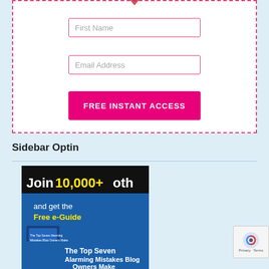[Figure (screenshot): Web optin form with dashed pink border, First Name input field, Email Address input field, and pink FREE INSTANT ACCESS button]
Sidebar Optin
[Figure (infographic): Promotional banner: 'Join 10,000+ others and get the Free e-Guide - The Top Seven Alarming Mistakes Blog Owners Make (and How To Fix Them)' with book image on dark blue/black background]